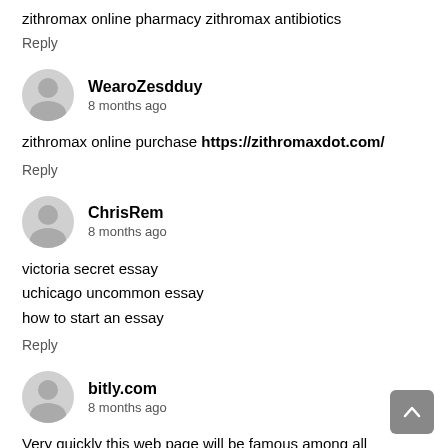zithromax online pharmacy zithromax antibiotics
Reply
WearoZesdduy
8 months ago
zithromax online purchase https://zithromaxdot.com/
Reply
ChrisRem
8 months ago
victoria secret essay
uchicago uncommon essay
how to start an essay
Reply
bitly.com
8 months ago
Very quickly this web page will be famous among all blogging and